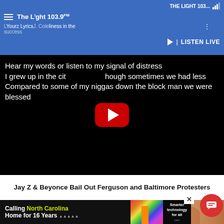The Light 103.9 FM — THE LIGHT 103... | LISTEN LIVE
[Figure (screenshot): YouTube video embed showing song lyrics on black background: 'Hear my words or listen to my signal of distress / I grew up in the city though sometimes we had less / Compared to some of my niggas down the block man we were blessed' with YouTube play button overlay]
Jay Z & Beyonce Bail Out Ferguson and Baltimore Protesters
[Figure (photo): Photo of Jay Z and Beyonce at an event, with illustrated/artwork background]
[Figure (infographic): Advertisement: Calling North Carolina Home for 16 Years — Smarter technology for all — Lenovo]